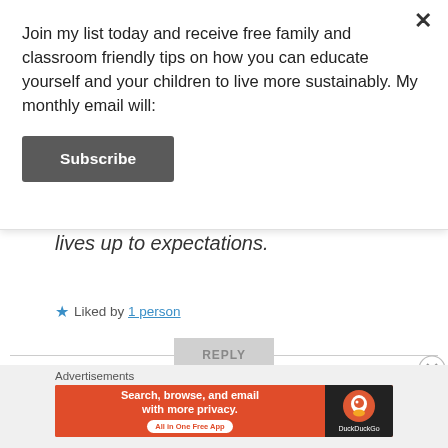Join my list today and receive free family and classroom friendly tips on how you can educate yourself and your children to live more sustainably. My monthly email will:
Subscribe
lives up to expectations.
★ Liked by 1 person
REPLY
Advertisements
[Figure (infographic): DuckDuckGo advertisement banner: orange background with text 'Search, browse, and email with more privacy. All in One Free App' and DuckDuckGo duck logo on dark right panel]